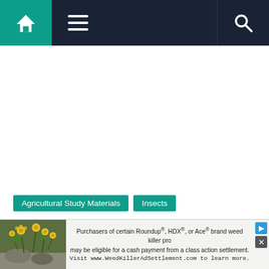Navigation bar with home, menu, and search icons
Agricultural Study Materials
Insects
Pest Monitoring – Pest Surveillance – Objectives, ey, Sampling, Techniques and Decision
[Figure (photo): Advertisement banner showing plants with yellow flowers, promoting Roundup, HDX, or Ace brand weed killer class action settlement at WeedKillerAdSettlement.com]